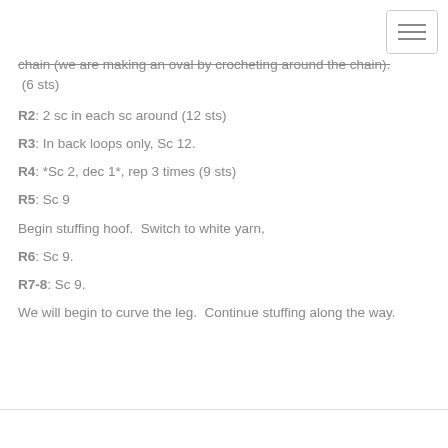chain (we are making an oval by crocheting around the chain). (6 sts)
R2: 2 sc in each sc around (12 sts)
R3: In back loops only, Sc 12.
R4: *Sc 2, dec 1*, rep 3 times (9 sts)
R5: Sc 9
Begin stuffing hoof.  Switch to white yarn,
R6: Sc 9.
R7-8: Sc 9.
We will begin to curve the leg.  Continue stuffing along the way.